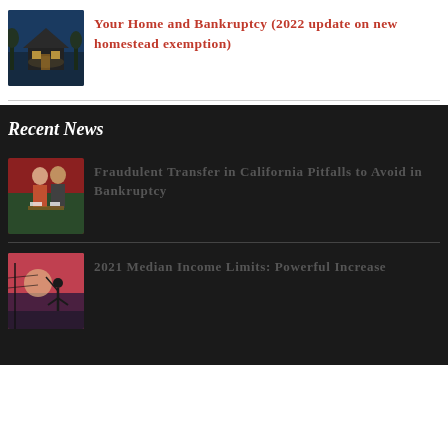[Figure (photo): Thumbnail photo of a house at dusk/night with lit windows]
Your Home and Bankruptcy (2022 update on new homestead exemption)
[Figure (photo): Thumbnail photo of a couple, man and woman, appearing to discuss financial documents]
Recent News
Fraudulent Transfer in California Pitfalls to Avoid in Bankruptcy
[Figure (photo): Thumbnail photo of a silhouette of a golfer against a pink/red sunset sky]
2021 Median Income Limits: Powerful Increase